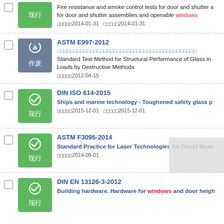Fire resistance and smoke control tests for door and shutter assemblies... 发布日期2014-01-31 实施日期2014-01-31
ASTM E997-2012 Standard Test Method for Structural Performance of Glass in Loads by Destructive Methods 发布日期2012-04-15
DIN ISO 614-2015 Ships and marine technology - Toughened safety glass p... 发布日期2015-12-01 实施日期2015-12-01
ASTM F3095-2014 Standard Practice for Laser Technologies for Direct Meas... 发布日期2014-09-01
DIN EN 13126-3-2012 Building hardware. Hardware for windows and door heigh...